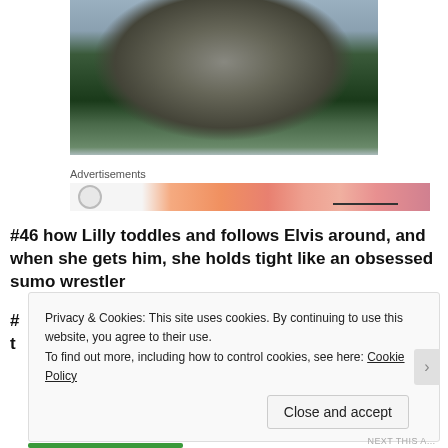[Figure (photo): Outdoor photo showing a round metallic or wooden sculptural object mounted on a pole, with bare trees and overcast sky in the background, greenery visible below]
Advertisements
[Figure (infographic): Advertisement banner with orange/pink gradient colors and a circular loading or logo icon on the left]
#46 how Lilly toddles and follows Elvis around, and when she gets him, she holds tight like an obsessed sumo wrestler
Privacy & Cookies: This site uses cookies. By continuing to use this website, you agree to their use.
To find out more, including how to control cookies, see here: Cookie Policy
Close and accept